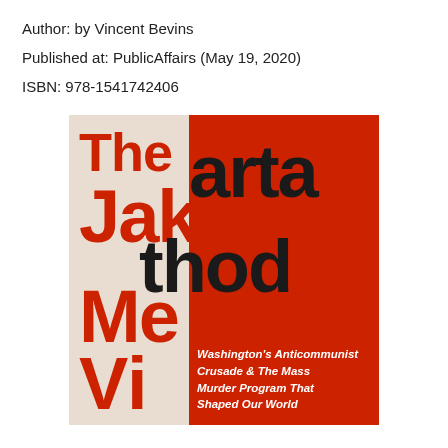Author: by Vincent Bevins
Published at: PublicAffairs (May 19, 2020)
ISBN: 978-1541742406
[Figure (illustration): Book cover of 'The Jakarta Method' by Vincent Bevins. Left half is cream/beige with red text reading 'The Jakarta Method' and author's initials 'Vi' at bottom. Right half is red with dark brown/black text continuing 'Jakarta Method'. Subtitle in white italic text: Washington's Anticommunist Crusade & The Mass Murder Program That Shaped Our World. Published by PublicAffairs.]